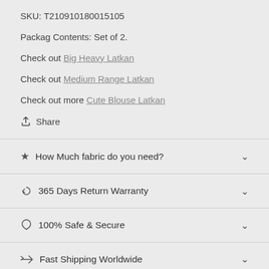SKU: T210910180015105
Packag Contents: Set of 2.
Check out Big Heavy Latkan
Check out Medium Range Latkan
Check out more Cute Blouse Latkan
Share
How Much fabric do you need?
365 Days Return Warranty
100% Safe & Secure
Fast Shipping Worldwide